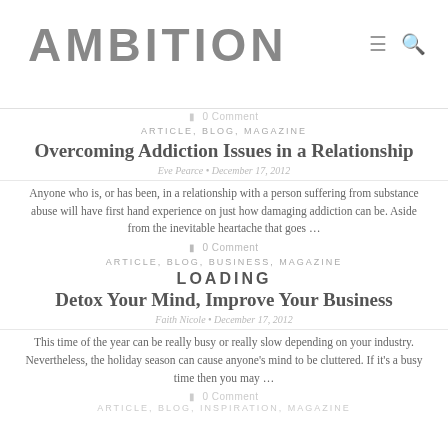AMBITION
0 Comment
ARTICLE, BLOG, MAGAZINE
Overcoming Addiction Issues in a Relationship
Eve Pearce • December 17, 2012
Anyone who is, or has been, in a relationship with a person suffering from substance abuse will have first hand experience on just how damaging addiction can be. Aside from the inevitable heartache that goes …
0 Comment
ARTICLE, BLOG, BUSINESS, MAGAZINE
LOADING
Detox Your Mind, Improve Your Business
Faith Nicole • December 17, 2012
This time of the year can be really busy or really slow depending on your industry. Nevertheless, the holiday season can cause anyone's mind to be cluttered. If it's a busy time then you may …
0 Comment
ARTICLE, BLOG, INSPIRATION, MAGAZINE